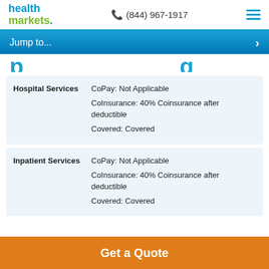health markets | (844) 967-1917
Jump to...
Hospital Services | CoPay: Not Applicable | CoInsurance: 40% Coinsurance after deductible | Covered: Covered
Inpatient Services | CoPay: Not Applicable | CoInsurance: 40% Coinsurance after deductible | Covered: Covered
Get a Quote